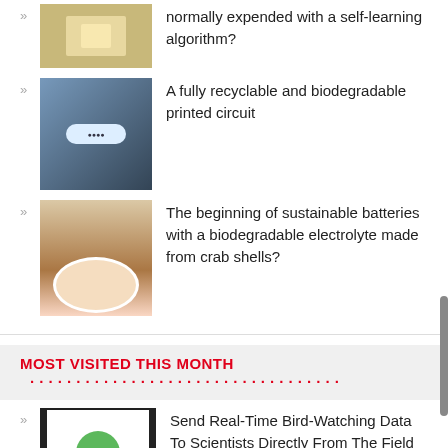normally expended with a self-learning algorithm?
A fully recyclable and biodegradable printed circuit
The beginning of sustainable batteries with a biodegradable electrolyte made from crab shells?
MOST VISITED THIS MONTH
Send Real-Time Bird-Watching Data To Scientists Directly From The Field
A new broadly neutralizing antibody neutralizes all known coronavirus variants
On the brink of a new more efficient power-generating system